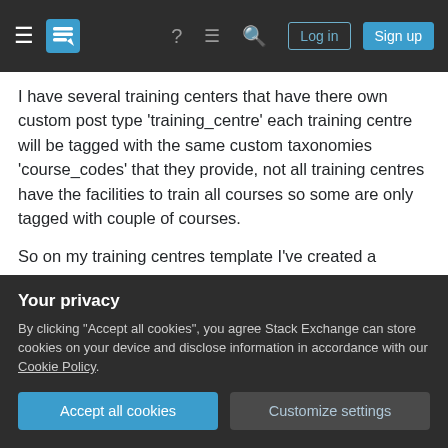Stack Exchange navigation bar with hamburger menu, logo, help, chat, search icons, Log in and Sign up buttons
I have several training centers that have there own custom post type 'training_centre' each training centre will be tagged with the same custom taxonomies 'course_codes' that they provide, not all training centres have the facilities to train all courses so some are only tagged with couple of courses.
So on my training centres template I've created a WP_Query to find all custom post type 'course' that have been tagged with the same custom taxonomy 'course_code' in training centres however, tax_query produces more results without tax_query
Your privacy
By clicking "Accept all cookies", you agree Stack Exchange can store cookies on your device and disclose information in accordance with our Cookie Policy.
Accept all cookies
Customize settings